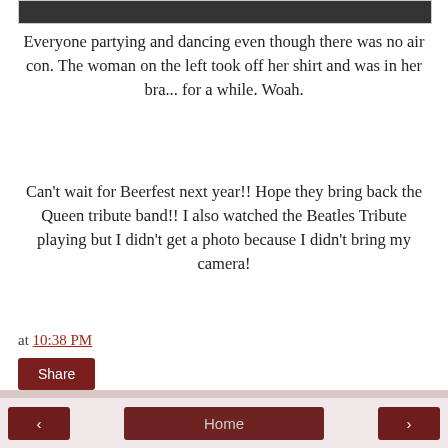[Figure (photo): Partial image strip visible at top of page, dark/black cropped photo]
Everyone partying and dancing even though there was no air con. The woman on the left took off her shirt and was in her bra... for a while. Woah.
Can't wait for Beerfest next year!! Hope they bring back the Queen tribute band!! I also watched the Beatles Tribute playing but I didn't get a photo because I didn't bring my camera!
at 10:38 PM
Share
◄   Home   ►